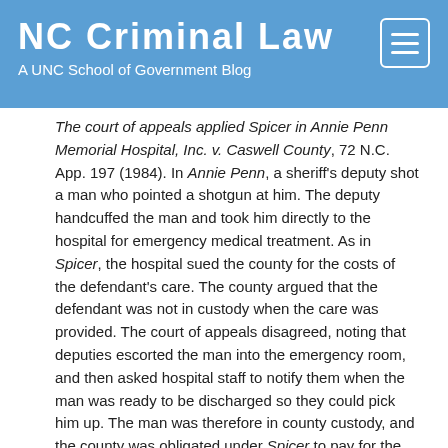NC Criminal Law
A UNC School of Government Blog
The court of appeals applied Spicer in Annie Penn Memorial Hospital, Inc. v. Caswell County, 72 N.C. App. 197 (1984). In Annie Penn, a sheriff's deputy shot a man who pointed a shotgun at him. The deputy handcuffed the man and took him directly to the hospital for emergency medical treatment. As in Spicer, the hospital sued the county for the costs of the defendant's care. The county argued that the defendant was not in custody when the care was provided. The court of appeals disagreed, noting that deputies escorted the man into the emergency room, and then asked hospital staff to notify them when the man was ready to be discharged so they could pick him up. The man was therefore in county custody, and the county was obligated under Spicer to pay for the man's care even though he never actually entered the jail.
Contrast Spicer and Annie Penn with Craven County